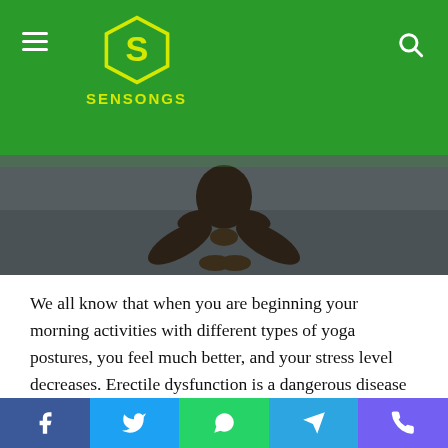SENSONGS
[Figure (photo): Person sitting in a yoga pose on a mat, photographed from above/front, showing crossed legs and hands]
We all know that when you are beginning your morning activities with different types of yoga postures, you feel much better, and your stress level decreases. Erectile dysfunction is a dangerous disease that we can almost see in men.
The end of sexual life is regularly seen due to this disease. In this article of ours, we will talk about it today. What is erectile dysfunction? Which are the 5 yoga positions that will protect humans from erectile dysfunction disease?